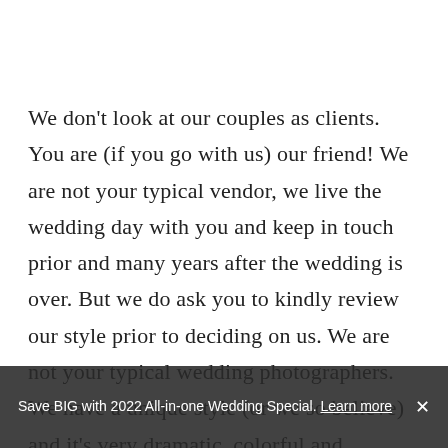We don't look at our couples as clients. You are (if you go with us) our friend! We are not your typical vendor, we live the wedding day with you and keep in touch prior and many years after the wedding is over. But we do ask you to kindly review our style prior to deciding on us. We are not your typical wedding photographers. We have a unique style (or we so believe) and it's very dramatic, colorful and different. We will always capture your day exactly how it went and will photograph your smile, your details and your first kiss. We will do it in a unique kind of way so that no one else will have pictures like that. Our aim is to create images that inspire and
Save BIG with 2022 All-in-one Wedding Special. Learn more ×